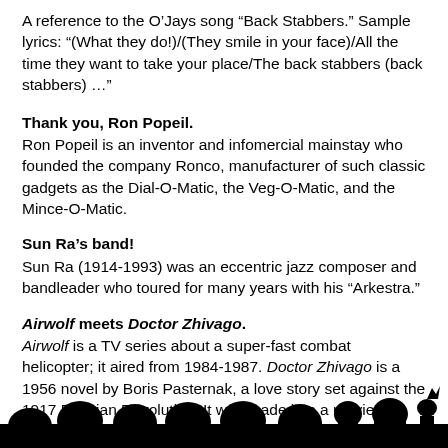A reference to the O'Jays song “Back Stabbers.” Sample lyrics: “(What they do!)/(They smile in your face)/All the time they want to take your place/The back stabbers (back stabbers) …”
Thank you, Ron Popeil.
Ron Popeil is an inventor and infomercial mainstay who founded the company Ronco, manufacturer of such classic gadgets as the Dial-O-Matic, the Veg-O-Matic, and the Mince-O-Matic.
Sun Ra’s band!
Sun Ra (1914-1993) was an eccentric jazz composer and bandleader who toured for many years with his “Arkestra.”
Airwolf meets Doctor Zhivago.
Airwolf is a TV series about a super-fast combat helicopter; it aired from 1984-1987. Doctor Zhivago is a 1956 novel by Boris Pasternak, a love story set against the 1917 Russian Revolution. It was made into a movie starring Omar Sharif in 1965.
[Figure (illustration): Silhouette of theater audience heads and a small robot/crow figure at bottom of page, black on white background, MST3K style theater silhouette]